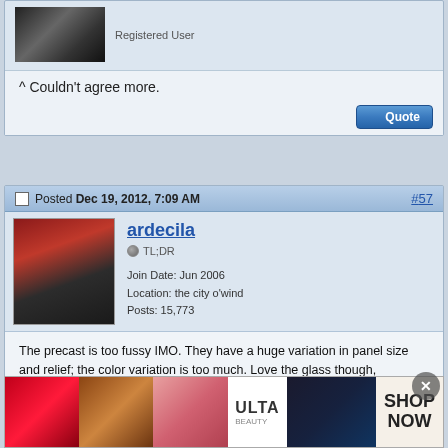[Figure (screenshot): Partial forum post top with avatar (dark figure) and Registered User label]
^ Couldn't agree more.
[Figure (screenshot): Quote button]
Posted Dec 19, 2012, 7:09 AM  #57
[Figure (photo): Avatar of ardecila - woman in black with red curtains background]
ardecila
TL;DR
Join Date: Jun 2006
Location: the city o'wind
Posts: 15,773
The precast is too fussy IMO. They have a huge variation in panel size and relief; the color variation is too much. Love the glass though, especially how they're using butt-glazed and mullions together.
la forme d'une ville change plus vite, hélas! que le coeur d'un mortel...
[Figure (photo): ULTA beauty advertisement banner with Shop Now call to action]